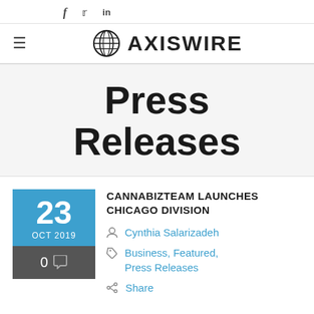f  ✓  in
≡  AXISWIRE
Press Releases
23 OCT 2019  0 comments
CANNABIZTEAM LAUNCHES CHICAGO DIVISION
Cynthia Salarizadeh
Business, Featured, Press Releases
Share